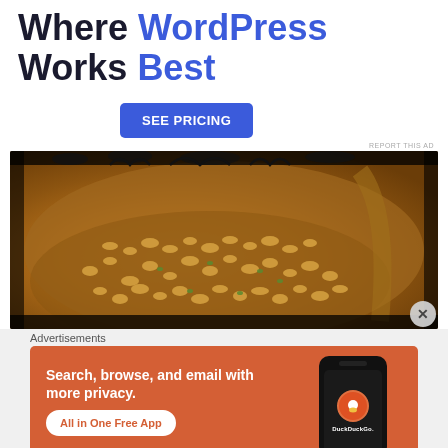Where WordPress Works Best
[Figure (other): Blue 'SEE PRICING' button]
REPORT THIS AD
[Figure (photo): Close-up food photo of grains/lentils in a wooden bowl with grunge border overlay and decorative curl designs at top]
Advertisements
[Figure (illustration): DuckDuckGo advertisement: 'Search, browse, and email with more privacy. All in One Free App' with phone mockup showing DuckDuckGo logo on orange/rust background]